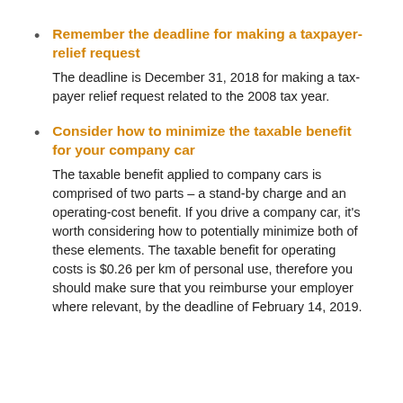Remember the deadline for making a taxpayer-relief request
The deadline is December 31, 2018 for making a tax-payer relief request related to the 2008 tax year.
Consider how to minimize the taxable benefit for your company car
The taxable benefit applied to company cars is comprised of two parts – a stand-by charge and an operating-cost benefit. If you drive a company car, it's worth considering how to potentially minimize both of these elements. The taxable benefit for operating costs is $0.26 per km of personal use, therefore you should make sure that you reimburse your employer where relevant, by the deadline of February 14, 2019.